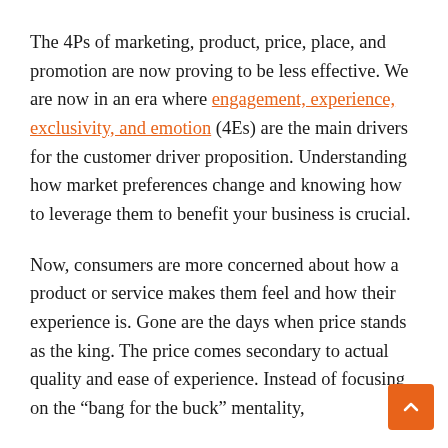The 4Ps of marketing, product, price, place, and promotion are now proving to be less effective. We are now in an era where engagement, experience, exclusivity, and emotion (4Es) are the main drivers for the customer driver proposition. Understanding how market preferences change and knowing how to leverage them to benefit your business is crucial.
Now, consumers are more concerned about how a product or service makes them feel and how their experience is. Gone are the days when price stands as the king. The price comes secondary to actual quality and ease of experience. Instead of focusing on the "bang for the buck" mentality,